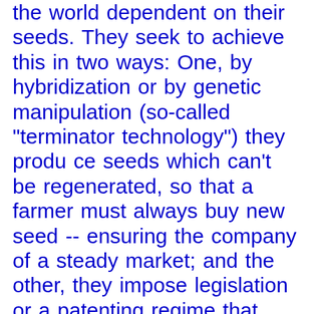the world dependent on their seeds. They seek to achieve this in two ways: One, by hybridization or by genetic manipulation (so-called "terminator technology") they produ ce seeds which can't be regenerated, so that a farmer must always buy new seed -- ensuring the company of a steady market; and the other, they impose legislation or a patenting regime that would make it illegal for a farmer to use or to spread the seeds she/he has grown without paying royalties to the company that holds the patent for them. In any case, the result will be that agro-biodiversity will be radically diminished and its continuous development -- by local and indigenous farmers in the South -- obstructed. This all makes it more and more difficult to pursue locally adapted